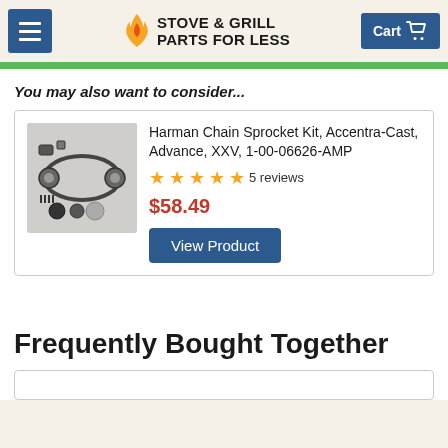Stove & Grill Parts For Less — Cart
You may also want to consider...
[Figure (photo): Harman Chain Sprocket Kit hardware components including chain, sprockets, and small parts on white background]
Harman Chain Sprocket Kit, Accentra-Cast, Advance, XXV, 1-00-06626-AMP
★★★★★ 5 reviews
$58.49
View Product
Frequently Bought Together